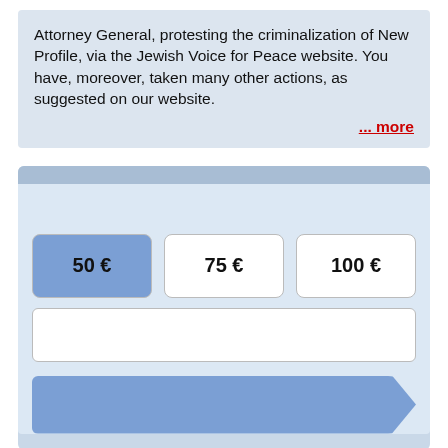Attorney General, protesting the criminalization of New Profile, via the Jewish Voice for Peace website. You have, moreover, taken many other actions, as suggested on our website.
... more
[Figure (infographic): A donation form UI with a selected 50€ button (highlighted blue), 75€ and 100€ unselected buttons, a text input area, and a blue arrow/chevron submit button.]